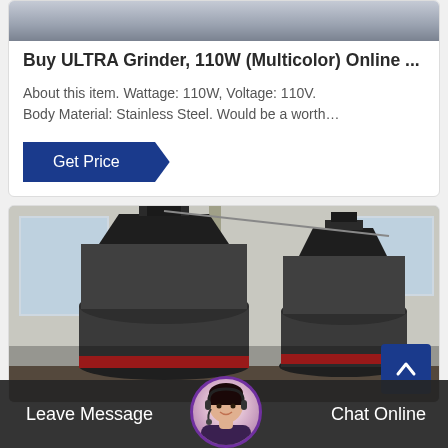[Figure (photo): Top portion of a product image (cropped), showing a grey/industrial background — partial view of the ULTRA Grinder product photo.]
Buy ULTRA Grinder, 110W (Multicolor) Online ...
About this item. Wattage: 110W, Voltage: 110V. Body Material: Stainless Steel. Would be a worth...
Get Price
[Figure (photo): Industrial photo showing two large black cylindrical grinding/milling machines inside a factory/warehouse building with windows and concrete structure in the background.]
Leave Message   Chat Online